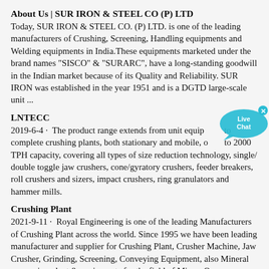About Us | SUR IRON & STEEL CO (P) LTD
Today, SUR IRON & STEEL CO. (P) LTD. is one of the leading manufacturers of Crushing, Screening, Handling equipments and Welding equipments in India.These equipments marketed under the brand names "SISCO" & "SURARC", have a long-standing goodwill in the Indian market because of its Quality and Reliability. SUR IRON was established in the year 1951 and is a DGTD large-scale unit ...
LNTECC
2019-6-4 · The product range extends from unit equipment to complete crushing plants, both stationary and mobile, of up to 2000 TPH capacity, covering all types of size reduction technology, single/ double toggle jaw crushers, cone/gyratory crushers, feeder breakers, roll crushers and sizers, impact crushers, ring granulators and hammer mills.
Crushing Plant
2021-9-11 · Royal Engineering is one of the leading Manufacturers of Crushing Plant across the world. Since 1995 we have been leading manufacturer and supplier for Crushing Plant, Crusher Machine, Jaw Crusher, Grinding, Screening, Conveying Equipment, also Mineral processing plant & equipments for the field of Mines, Quarry, Minerals, Chemicals, Pharmaceuticals, Refractory and many other sectors for …
[Figure (other): Live Chat button overlay — a cyan speech bubble with 'Live Chat' text and an X close button]